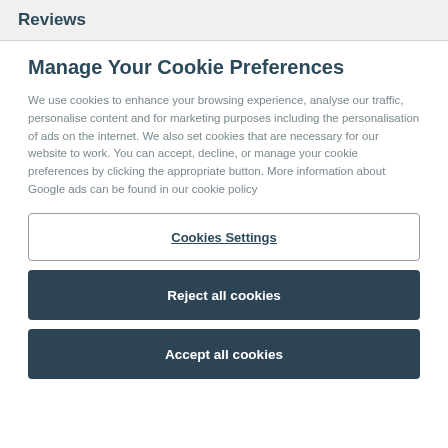Reviews
Manage Your Cookie Preferences
We use cookies to enhance your browsing experience, analyse our traffic, personalise content and for marketing purposes including the personalisation of ads on the internet. We also set cookies that are necessary for our website to work. You can accept, decline, or manage your cookie preferences by clicking the appropriate button. More information about Google ads can be found in our cookie policy
Cookies Settings
Reject all cookies
Accept all cookies